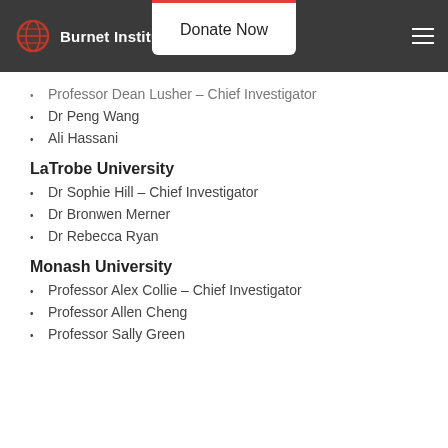Burnet Institute | Donate Now
Professor Dean Lusher – Chief Investigator
Dr Peng Wang
Ali Hassani
LaTrobe University
Dr Sophie Hill – Chief Investigator
Dr Bronwen Merner
Dr Rebecca Ryan
Monash University
Professor Alex Collie – Chief Investigator
Professor Allen Cheng
Professor Sally Green